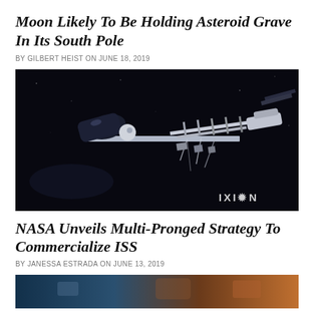Moon Likely To Be Holding Asteroid Grave In Its South Pole
BY GILBERT HEIST ON JUNE 18, 2019
[Figure (photo): Rendered image of a space station or spacecraft module against a dark space background, with IXION logo in the bottom right corner.]
NASA Unveils Multi-Pronged Strategy To Commercialize ISS
BY JANESSA ESTRADA ON JUNE 13, 2019
[Figure (photo): Partial image at the bottom of the page showing a warm-toned scene, likely related to the second article.]